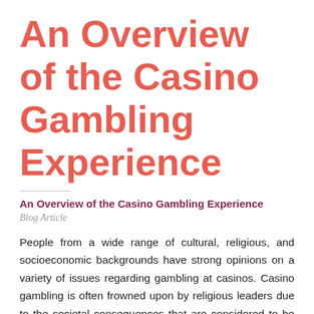An Overview of the Casino Gambling Experience
An Overview of the Casino Gambling Experience
Blog Article
People from a wide range of cultural, religious, and socioeconomic backgrounds have strong opinions on a variety of issues regarding gambling at casinos. Casino gambling is often frowned upon by religious leaders due to the societal consequences that are considered to be associated with it. Because of this, gambling of any kind, including main168 casino